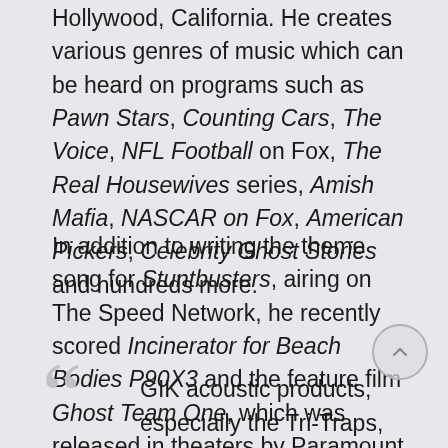Hollywood, California. He creates various genres of music which can be heard on programs such as Pawn Stars, Counting Cars, The Voice, NFL Football on Fox, The Real Housewives series, Amish Mafia, NASCAR on Fox, American Pickers, Celebrity Ghost Stories and hundreds more.
In addition to writing the theme song for Stuntbusters, airing on The Speed Network, he recently scored Incinerator for Beach Bodies P90X3 and the feature film Ghost Team One, which was released in theaters by Paramount Pictures.
GIK acoustic products, especially the Tri-Traps,